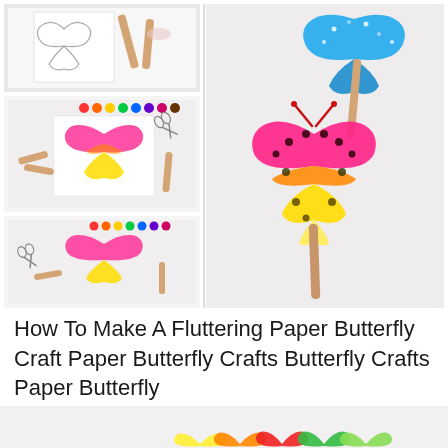[Figure (photo): Collage of four photos showing steps to make a fluttering paper butterfly craft. Top-left: outline template on paper. Middle-left: pink-to-yellow butterfly painting with craft sticks, scissors, paint dots. Bottom-left: completed pink-to-yellow butterfly with supplies. Right (large): finished pink-orange-yellow butterfly and a blue butterfly on craft stick handles with sequins and gems.]
How To Make A Fluttering Paper Butterfly Craft Paper Butterfly Crafts Butterfly Crafts Paper Butterfly
[Figure (photo): Partial bottom image showing a row of small 3D paper butterflies in rainbow colors (yellow, orange, red, green, light green) arranged on a white surface.]